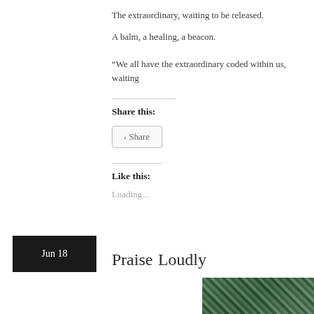The extraordinary, waiting to be released.
A balm, a healing, a beacon.
“We all have the extraordinary coded within us, waiting
Share this:
[Figure (other): Share button with share icon]
Like this:
Loading...
Jun 18
Praise Loudly
[Figure (photo): Partial photo of trees visible at bottom right]